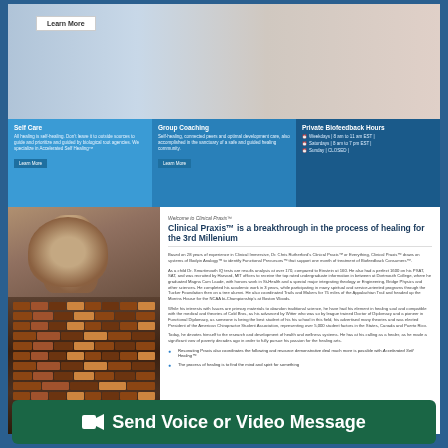[Figure (screenshot): Screenshot of a medical/wellness website called Clinical Praxis with top banner, three feature boxes (Self Care, Group Coaching, Private Biofeedback Hours), a photo of a bearded man with shelves of bottles, and text content.]
Learn More
Self Care
All healing is self-healing. Don't leave it to outside sources to guide and prioritize and guided by biological root agencies. We specialize in Accelerated Self Healing™
Group Coaching
Self-healing, connected peers and optimal development care, also accomplished in the sanctuary of a safe and guided healing community.
Private Biofeedback Hours
Weekdays | 8 am to 11 am EST |
Saturdays | 8 am to 7 pm EST |
Sunday | CLOSED |
Welcome to Clinical Praxis™
Clinical Praxis™ is a breakthrough in the process of healing for the 3rd Millenium
Based on 28 years of experience in Clinical Immersive, Dr. Chris Rutherford's Clinical Praxis™ or Everything, Clinical Praxis™ draws on systems of Bodyin Analogy™ to identify Functional Precursors™ that support one month of treatment of Biofeedback Consumers™.
As a child Dr. Smartimouth IQ tests are results analysis at over 170, compared to Einstein at 160. He also had a perfect 1600 on his PSAT, SAT, and was recruited by Harvard, MIT offices to receive the top rated undergraduate information in between at Dortmouth College, where he graduated Magna Cum Laude, with honors work in St-Health and a special major integrating theology or Engineering, Bridge Physics and other sciences. He completed his academic work in 3 years, while participating in many spiritual and service-oriented programs through the Tucker Foundation then on a tree alumni. He also coordinated Trails and Makers for 75 miles of the Appalachian Trail and headed up the Morrins House for the NCAA bi-Championship's at Boston Woods.
While his interests with Issues are primary materials to abandon traditional science, he have had his element in healing soul and compatible with the medical and theories of Cold Bros, as his advanced by Witter who was so by league trained Doctor of Diplomacy and a pioneer in Functional Diplomacy, as someone is being the best student of his his school in this field, his advertised many theories and was elected President of the American Chiropractor Student Association, representing over 5,000 student factors in the States, Canada and Puerto Rico.
Today, he devotes himself to the research and development of health and wellness systems. He has at his calling as a healer, as he made a significant vow of poverty decades ago in order to fully pursue his passion for the healing arts.
Resonating Praxis also coordinates the following and resource demonstrative deal much more is possible with Accelerated Self Healing™
The process of healing is to find the mind and spirit for something
Send Voice or Video Message